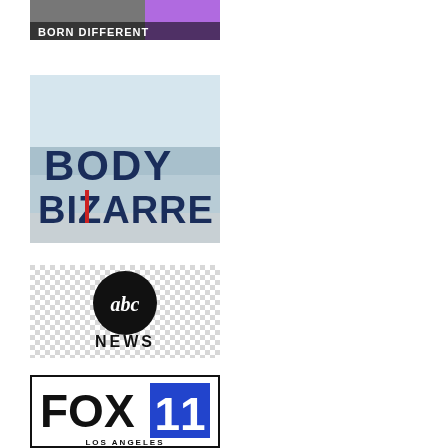[Figure (logo): Born Different logo with person in grey shirt and purple background, white text 'BORN DIFFERENT']
[Figure (logo): Body Bizarre logo with ocean/beach background, dark navy bold text 'BODY BIZARRE' with red accent on letter I]
[Figure (logo): ABC News logo with ABC circle logo and 'NEWS' text, checkered/transparent background]
[Figure (logo): FOX 11 Los Angeles logo, black text FOX with blue rectangle containing white '11']